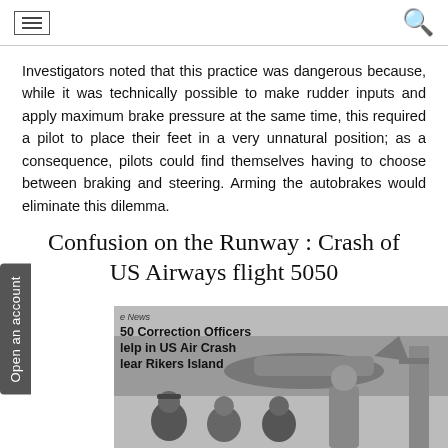Investigators noted that this practice was dangerous because, while it was technically possible to make rudder inputs and apply maximum brake pressure at the same time, this required a pilot to place their feet in a very unnatural position; as a consequence, pilots could find themselves having to choose between braking and steering. Arming the autobrakes would eliminate this dilemma.
Confusion on the Runway : Crash of US Airways flight 5050
[Figure (photo): Black and white newspaper photo showing correction officers who helped in US Air crash near Rikers Island. Four people visible in foreground, crashed aircraft visible in water in background.]